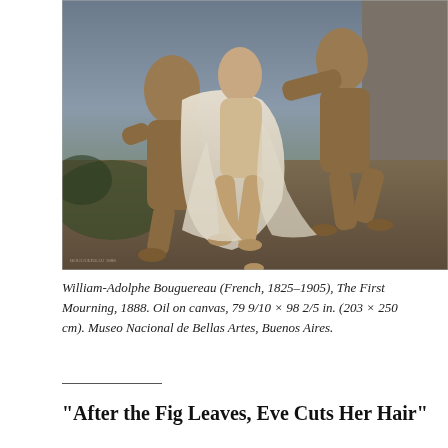[Figure (photo): A cropped view of William-Adolphe Bouguereau's painting 'The First Mourning' (1888), showing classical figures in mourning draped in white cloth against a dark landscape background, rendered in a realistic academic style.]
William-Adolphe Bouguereau (French, 1825–1905), The First Mourning, 1888. Oil on canvas, 79 9/10 × 98 2/5 in. (203 × 250 cm). Museo Nacional de Bellas Artes, Buenos Aires.
“After the Fig Leaves, Eve Cuts Her Hair”